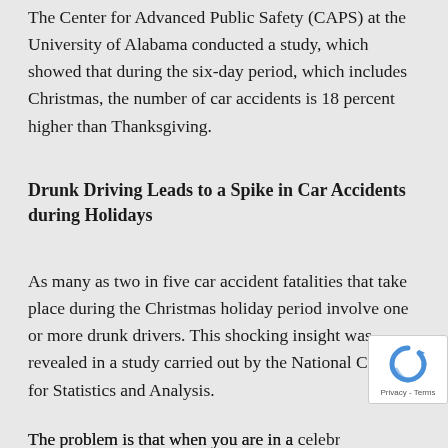The Center for Advanced Public Safety (CAPS) at the University of Alabama conducted a study, which showed that during the six-day period, which includes Christmas, the number of car accidents is 18 percent higher than Thanksgiving.
Drunk Driving Leads to a Spike in Car Accidents during Holidays
As many as two in five car accident fatalities that take place during the Christmas holiday period involve one or more drunk drivers. This shocking insight was revealed in a study carried out by the National Center for Statistics and Analysis.
The problem is that when you are in a celebratory mood during the holidays, it becomes harder to...